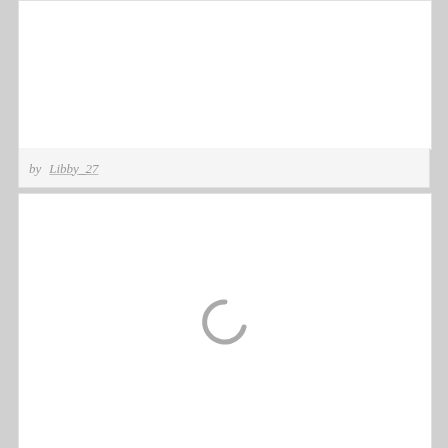[Figure (other): White card area — top content placeholder]
by Libby_27
[Figure (other): White card area with a gray loading spinner (C-shaped arc) centered in the lower half]